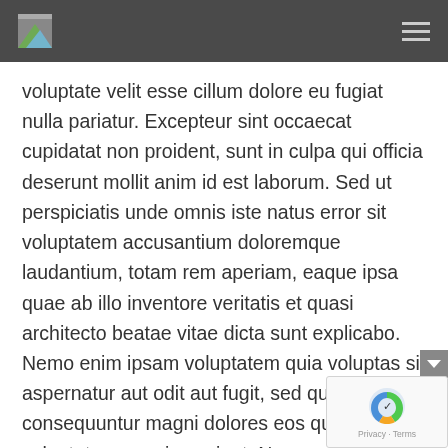[logo] [hamburger menu]
voluptate velit esse cillum dolore eu fugiat nulla pariatur. Excepteur sint occaecat cupidatat non proident, sunt in culpa qui officia deserunt mollit anim id est laborum. Sed ut perspiciatis unde omnis iste natus error sit voluptatem accusantium doloremque laudantium, totam rem aperiam, eaque ipsa quae ab illo inventore veritatis et quasi architecto beatae vitae dicta sunt explicabo. Nemo enim ipsam voluptatem quia voluptas sit aspernatur aut odit aut fugit, sed quia consequuntur magni dolores eos qui ratione voluptatem sequi nesciunt. Neque porro quisquam est, qui dolorem ipsum quia dolor sit amet, consectetur, adipisci velit, sed quia non numquam eius modi tempora incidunt ut labore et dolore magnam aliquam quaerat voluptate. Nemo enim ipsam voluptatem quia voluptas sit aspe aut odit aut fugit